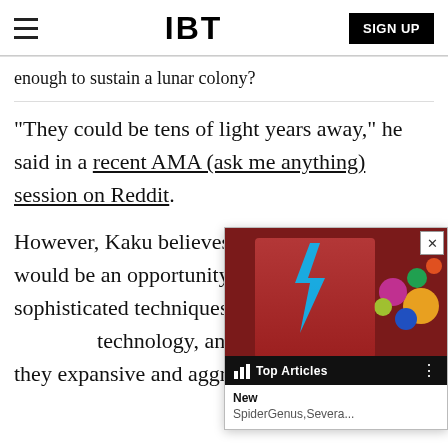IBT | SIGN UP
enough to sustain a lunar colony?
"They could be tens of light years away," he said in a recent AMA (ask me anything) session on Reddit.
However, Kaku believes that this distance would be an opportunity for us to develop sophisticated techniques to understand th... technology, and most impo... they expansive and aggress... added.
[Figure (screenshot): Pop-up overlay widget showing 'Top Articles' header bar with a thumbnail image of a person with colorful face paint, and text 'New SpiderGenus,Severa...']